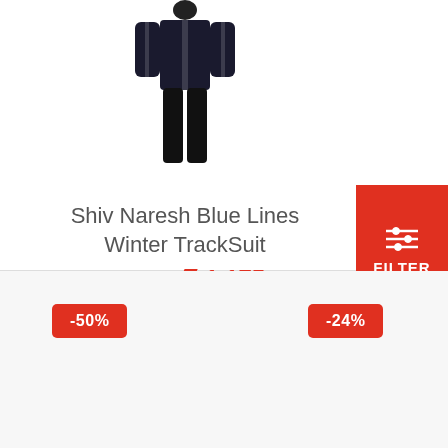[Figure (photo): Dark navy blue tracksuit worn by a mannequin/model, showing full body with jacket and pants]
Shiv Naresh Blue Lines Winter TrackSuit
₹ 1,880  ₹ 1,175
[Figure (infographic): Filter button with slider icon in red, labeled FILTER]
-50%
-24%